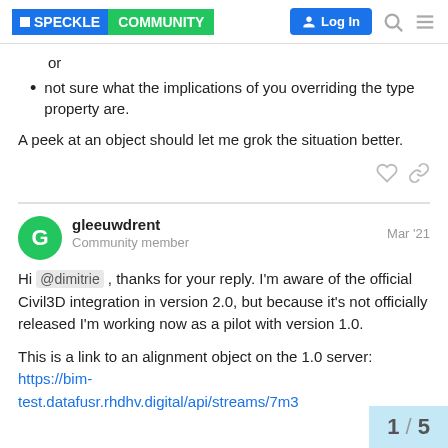Speckle Community — Log In
or
not sure what the implications of you overriding the type property are.
A peek at an object should let me grok the situation better.
gleeuwdrent — Community member — Mar '21
Hi @dimitrie , thanks for your reply. I'm aware of the official Civil3D integration in version 2.0, but because it's not officially released I'm working now as a pilot with version 1.0.
This is a link to an alignment object on the 1.0 server: https://bim-test.datafusr.rhdhv.digital/api/streams/7m3
1 / 5